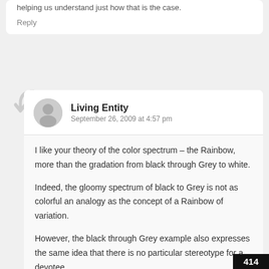helping us understand just how that is the case.
Reply
Living Entity
September 26, 2009 at 4:57 pm
I like your theory of the color spectrum – the Rainbow, more than the gradation from black through Grey to white.
Indeed, the gloomy spectrum of black to Grey is not as colorful an analogy as the concept of a Rainbow of variation.
However, the black through Grey example also expresses the same idea that there is no particular stereotype for a devotee.
In fact, I don't think I have ever met a devotee who
414